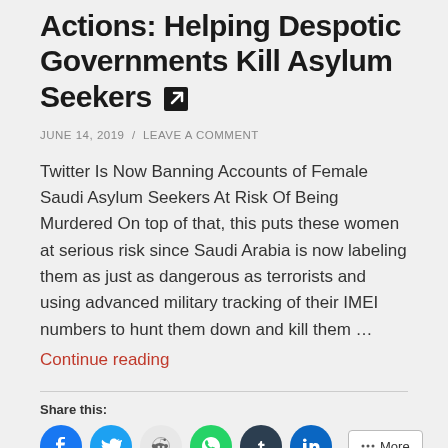Actions: Helping Despotic Governments Kill Asylum Seekers
JUNE 14, 2019 / LEAVE A COMMENT
Twitter Is Now Banning Accounts of Female Saudi Asylum Seekers At Risk Of Being Murdered On top of that, this puts these women at serious risk since Saudi Arabia is now labeling them as just as dangerous as terrorists and using advanced military tracking of their IMEI numbers to hunt them down and kill them …
Continue reading
Share this: